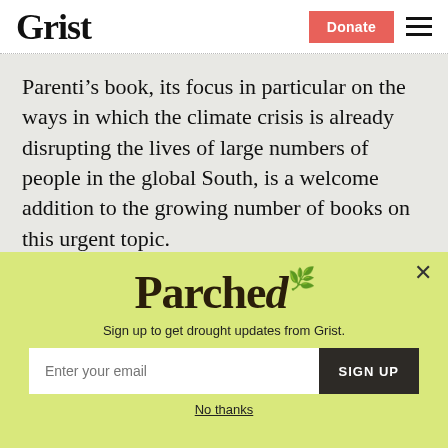Grist | Donate
Parenti’s book, its focus in particular on the ways in which the climate crisis is already disrupting the lives of large numbers of people in the global South, is a welcome addition to the growing number of books on this urgent topic.
[Figure (infographic): Parched newsletter signup modal with yellow-green background. Shows 'Parched' logo in large serif font with a leaf/flame icon, subtitle 'Sign up to get drought updates from Grist.', an email input field with 'Enter your email' placeholder, a dark 'SIGN UP' button, and a 'No thanks' underlined link.]